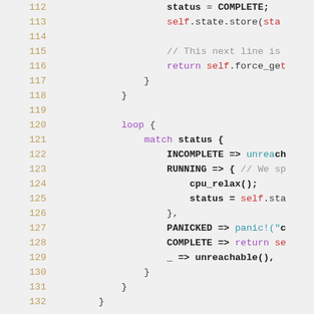[Figure (screenshot): Source code listing in Rust language, lines 112-132, showing a loop with match statement on status variable with INCOMPLETE, RUNNING, PANICKED, COMPLETE and _ branches, on a light gray background with syntax highlighting]